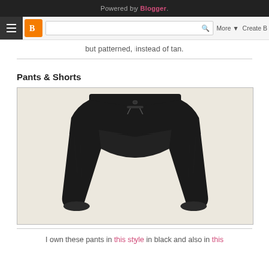Powered by Blogger.
but patterned, instead of tan.
Pants & Shorts
[Figure (photo): Black drawstring jogger pants laid flat on a light beige background]
I own these pants in this style in black and also in this